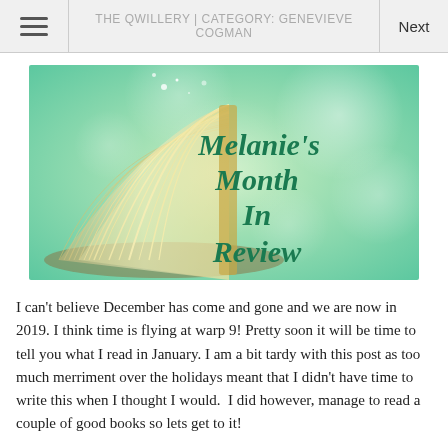THE QWILLERY | CATEGORY: GENEVIEVE COGMAN
[Figure (illustration): Banner image showing an open book with pages fanned out on a green bokeh background, with italic teal text reading "Melanie's Month In Review"]
I can't believe December has come and gone and we are now in 2019. I think time is flying at warp 9! Pretty soon it will be time to tell you what I read in January. I am a bit tardy with this post as too much merriment over the holidays meant that I didn't have time to write this when I thought I would.  I did however, manage to read a couple of good books so lets get to it!